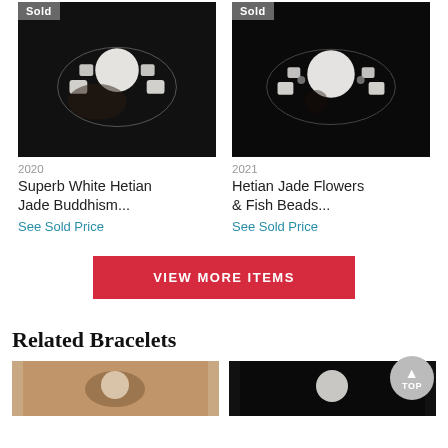[Figure (photo): White Hetian jade Buddhism bracelet on dark background, with 'Sold' badge]
[Figure (photo): Hetian Jade Flowers & Fish Beads bracelet on dark background, with 'Sold' badge]
2020
Superb White Hetian Jade Buddhism...
See Sold Price
2021
Hetian Jade Flowers & Fish Beads...
See Sold Price
VIEW MORE ITEMS
Related Bracelets
[Figure (photo): Related bracelet item left]
[Figure (photo): Related bracelet item right]